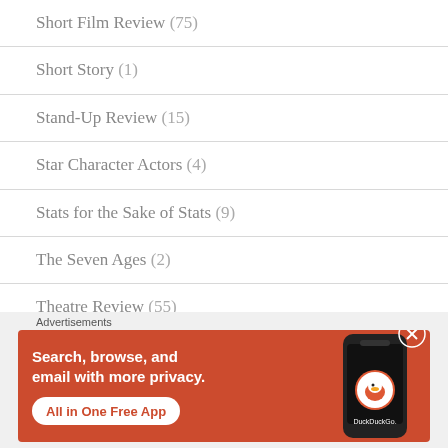Short Film Review (75)
Short Story (1)
Stand-Up Review (15)
Star Character Actors (4)
Stats for the Sake of Stats (9)
The Seven Ages (2)
Theatre Review (55)
Trailer Review (2)
Travel (17)
Advertisements
[Figure (illustration): DuckDuckGo advertisement banner: orange background with white bold text 'Search, browse, and email with more privacy.' and a white rounded button with red text 'All in One Free App'. Right side shows a dark smartphone with the DuckDuckGo logo and brand name.]